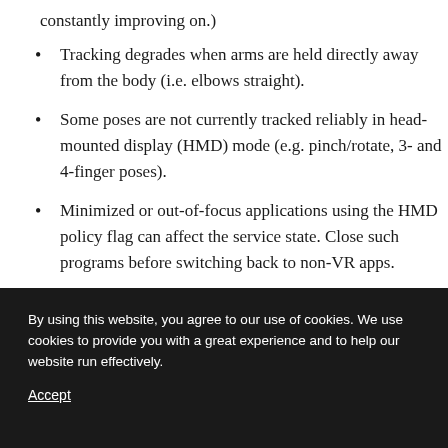constantly improving on.)
Tracking degrades when arms are held directly away from the body (i.e. elbows straight).
Some poses are not currently tracked reliably in head-mounted display (HMD) mode (e.g. pinch/rotate, 3- and 4-finger poses).
Minimized or out-of-focus applications using the HMD policy flag can affect the service state. Close such programs before switching back to non-VR apps.
By using this website, you agree to our use of cookies. We use cookies to provide you with a great experience and to help our website run effectively.
Accept